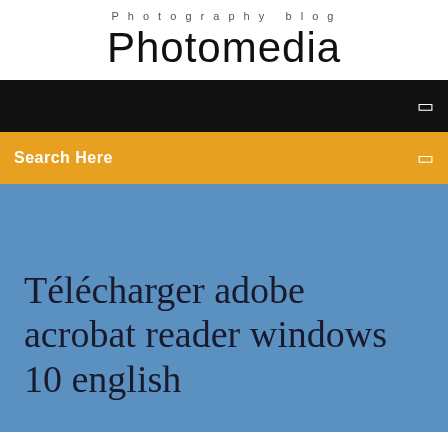Photography blog
Photomedia
[Figure (screenshot): Black navigation bar with a menu icon on the right]
Search Here
Télécharger adobe acrobat reader windows 10 english